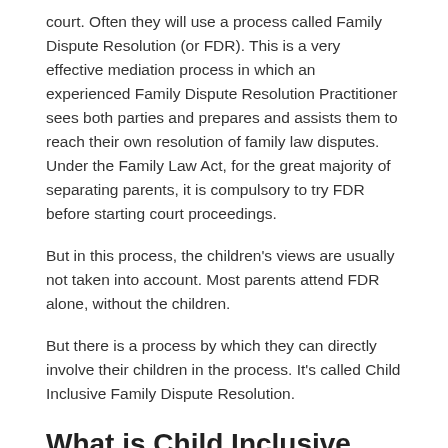court. Often they will use a process called Family Dispute Resolution (or FDR). This is a very effective mediation process in which an experienced Family Dispute Resolution Practitioner sees both parties and prepares and assists them to reach their own resolution of family law disputes. Under the Family Law Act, for the great majority of separating parents, it is compulsory to try FDR before starting court proceedings.
But in this process, the children's views are usually not taken into account. Most parents attend FDR alone, without the children.
But there is a process by which they can directly involve their children in the process. It's called Child Inclusive Family Dispute Resolution.
What is Child Inclusive Family Dispute Resolution?